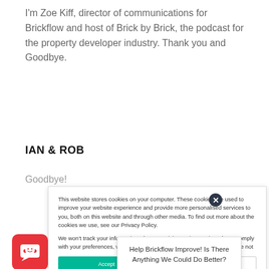I'm Zoe Kiff, director of communications for Brickflow and host of Brick by Brick, the podcast for the property developer industry. Thank you and Goodbye.
IAN & ROB
Goodbye!
This website stores cookies on your computer. These cookies are used to improve your website experience and provide more personalised services to you, both on this website and through other media. To find out more about the cookies we use, see our Privacy Policy.

We won't track your information when you visit our site. But in order to comply with your preferences, we'll have to use just one tiny cookie so that you're not
Help Brickflow Improve! Is There Anything We Could Do Better?